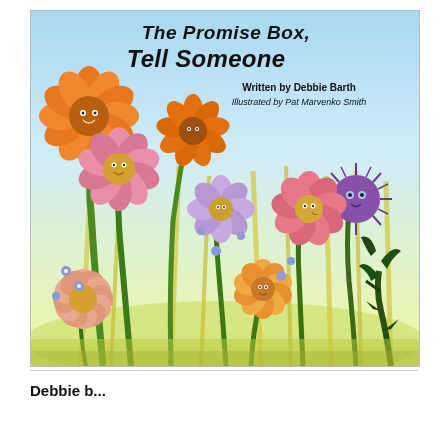[Figure (illustration): Book cover illustration showing colorful animated flowers with faces in a garden scene. Large orange sunflowers with smiling faces at the top, pink coneflowers, purple flowers, lavender zinnias, and orange zinnias fill the middle ground, with a spiky purple thistle-like creature on the right. A thorny dark plant with claw-like roots appears at the bottom right. Background is light blue sky fading to yellow-green grass. Title text at top reads 'Tell Someone' with partial text above it. Author: Written by Debbie Barth, Illustrated by Pat Marvenko Smith.]
Tell Someone
Written by Debbie Barth
Illustrated by Pat Marvenko Smith
Debbie b...